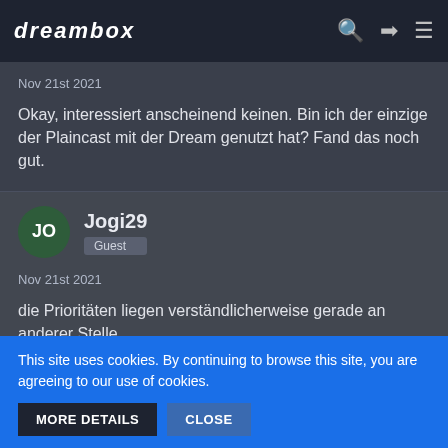dreambox
Nov 21st 2021
Okay, interessiert anscheinend keinen. Bin ich der einzige der Plaincast mit der Dream genutzt hat? Fand das noch gut.
Jogi29
Guest
Nov 21st 2021
die Prioritäten liegen verständlicherweise gerade an anderer Stelle
This site uses cookies. By continuing to browse this site, you are agreeing to our use of cookies.
MORE DETAILS   CLOSE